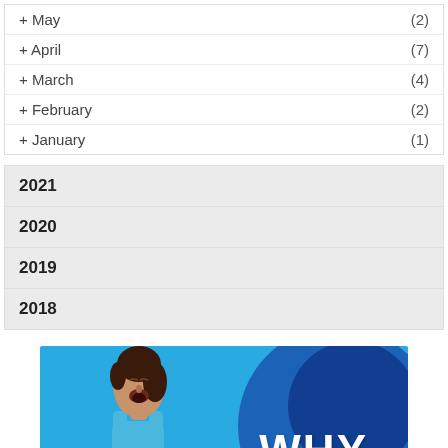+ May (2)
+ April (7)
+ March (4)
+ February (2)
+ January (1)
2021
2020
2019
2018
[Figure (photo): A woman in athletic wear with mouth open (yelling/intense expression) on a bright blue background with a large bold white text 'WHY' and a dark blue arc shape on the right side.]